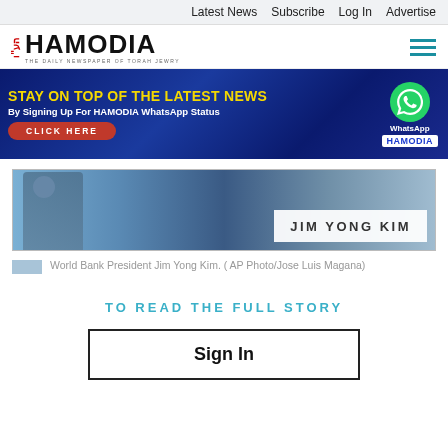Latest News  Subscribe  Log In  Advertise
[Figure (logo): Hamodia logo - The Daily Newspaper of Torah Jewry]
[Figure (infographic): Banner ad: STAY ON TOP OF THE LATEST NEWS By Signing Up For HAMODIA WhatsApp Status CLICK HERE - with WhatsApp icon and HAMODIA label]
[Figure (photo): Photo of World Bank President Jim Yong Kim with name plate reading JIM YONG KIM]
World Bank President Jim Yong Kim. ( AP Photo/Jose Luis Magana)
TO READ THE FULL STORY
Sign In